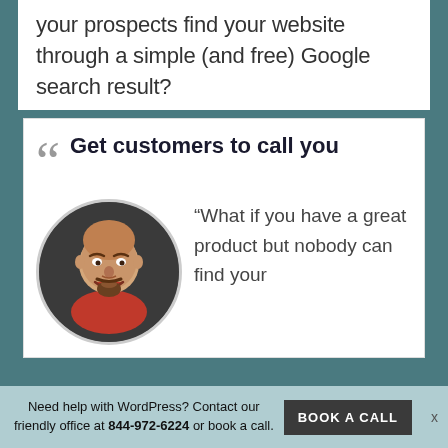your prospects find your website through a simple (and free) Google search result?
Get customers to call you
[Figure (photo): Circular portrait photo of a bald middle-aged man with a goatee, smiling broadly, wearing a red shirt, against a dark background.]
“What if you have a great product but nobody can find your
Need help with WordPress? Contact our friendly office at 844-972-6224 or book a call. BOOK A CALL